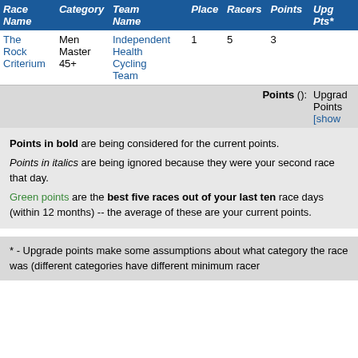| Race Name | Category | Team Name | Place | Racers | Points | Upg Pts* |
| --- | --- | --- | --- | --- | --- | --- |
| The Rock Criterium | Men Master 45+ | Independent Health Cycling Team | 1 | 5 | 3 |  |
Points (): Upgrade Points [show
Points in bold are being considered for the current points.
Points in italics are being ignored because they were your second race that day.
Green points are the best five races out of your last ten race days (within 12 months) -- the average of these are your current points.
* - Upgrade points make some assumptions about what category the race was (different categories have different minimum racer